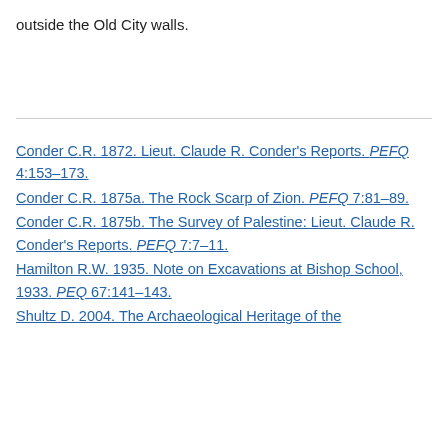outside the Old City walls.
Conder C.R. 1872. Lieut. Claude R. Conder's Reports. PEFQ 4:153–173.
Conder C.R. 1875a. The Rock Scarp of Zion. PEFQ 7:81–89.
Conder C.R. 1875b. The Survey of Palestine: Lieut. Claude R. Conder's Reports. PEFQ 7:7–11.
Hamilton R.W. 1935. Note on Excavations at Bishop School, 1933. PEQ 67:141–143.
Shultz D. 2004. The Archaeological Heritage of the